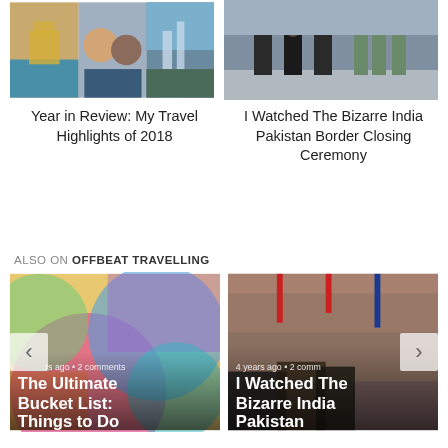[Figure (photo): Collage of travel photos: Golden Temple, two men selfie, waterfall landscape]
[Figure (photo): India Pakistan border closing ceremony with guards in uniform]
Year in Review: My Travel Highlights of 2018
I Watched The Bizarre India Pakistan Border Closing Ceremony
ALSO ON OFFBEAT TRAVELLING
[Figure (photo): Colorful street mural art]
[Figure (photo): Large crowd at India Pakistan border ceremony]
rs ago • 2 comments
4 years ago • 2 comm
The Ultimate Bucket List: Things to Do ...
I Watched The Bizarre India Pakistan ...